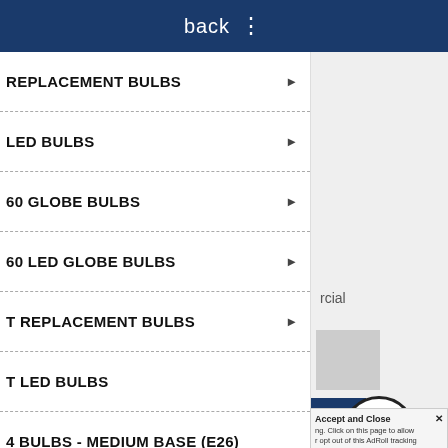back ⋮
REPLACEMENT BULBS
LED BULBS
60 GLOBE BULBS
60 LED GLOBE BULBS
T REPLACEMENT BULBS
T LED BULBS
4 BULBS - MEDIUM BASE (E26)
4 LED BULBS - MEDIUM BASE (E26)
icial
25 PACK
Accept and Close ✕
ing. Click on this page to allow
r opt out of this AdRoll tracking